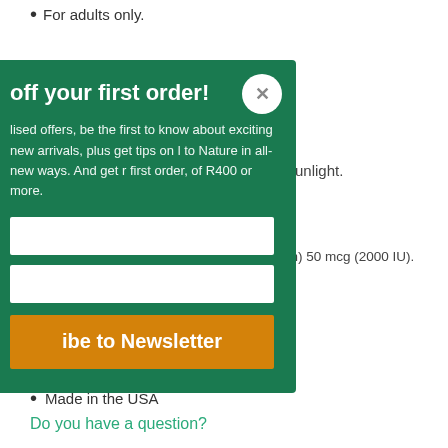For adults only.
m direct sunlight.
[Figure (screenshot): Newsletter signup modal overlay on a green background with title 'off your first order!', body text about personalised offers and new arrivals, two input fields, and an orange 'Subscribe to Newsletter' button with a close X button]
om Lanolin) 50 mcg (2000 IU).
tic cap.
Made in the USA
Do you have a question?